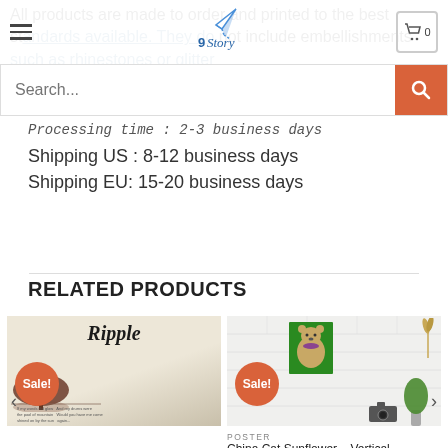9Story (logo/nav header with hamburger menu and cart icon showing 0)
All products are made to order and printed to the best standards available. They do not include embellishments such as rhinestones or glitter
Processing time : 2-3 business days
Shipping US : 8-12 business days
Shipping EU: 15-20 business days
RELATED PRODUCTS
[Figure (photo): Product card: Ripple poster art showing cursive Ripple title over a scenic reflection landscape with song lyrics, marked Sale!]
[Figure (photo): Product card: China Cat Sunflower poster showing a bear figure on green background mounted on white brick wall, marked Sale!]